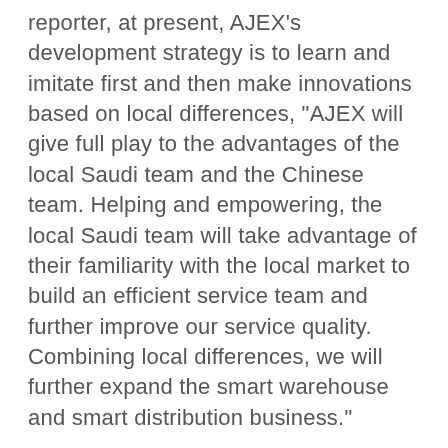reporter, at present, AJEX's development strategy is to learn and imitate first and then make innovations based on local differences, "AJEX will give full play to the advantages of the local Saudi team and the Chinese team. Helping and empowering, the local Saudi team will take advantage of their familiarity with the local market to build an efficient service team and further improve our service quality. Combining local differences, we will further expand the smart warehouse and smart distribution business."